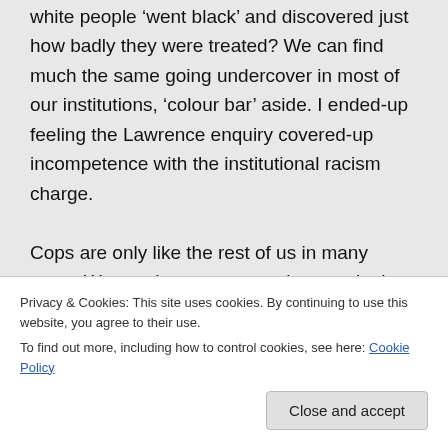white people 'went black' and discovered just how badly they were treated? We can find much the same going undercover in most of our institutions, 'colour bar' aside. I ended-up feeling the Lawrence enquiry covered-up incompetence with the institutional racism charge.
Cops are only like the rest of us in many ways. We need to encourage them to do the right job. I'd have been tempted to stop Dr C...
Privacy & Cookies: This site uses cookies. By continuing to use this website, you agree to their use.
To find out more, including how to control cookies, see here: Cookie Policy